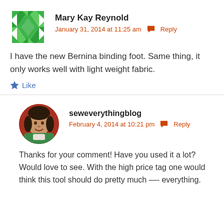[Figure (illustration): Green geometric quilt-pattern avatar icon]
Mary Kay Reynold
January 31, 2014 at 11:25 am  Reply
I have the new Bernina binding foot. Same thing, it only works well with light weight fabric.
Like
[Figure (photo): Round profile photo of a woman in green clothing with red background]
seweverythingblog
February 4, 2014 at 10:21 pm  Reply
Thanks for your comment! Have you used it a lot? Would love to see. With the high price tag one would think this tool should do pretty much —- everything.